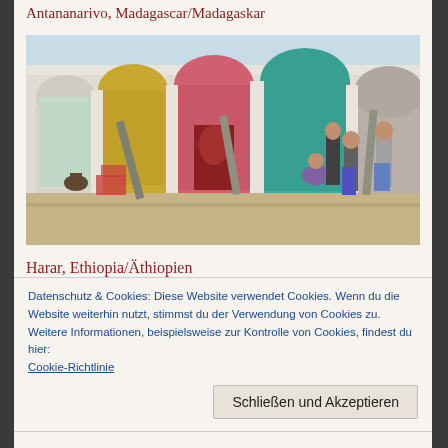Antananarivo, Madagascar/Madagaskar
[Figure (photo): Street scene in Harar, Ethiopia showing colorful arched doorways (yellow, pink/red, teal) in white stucco buildings, with people standing and sitting outside market stalls]
Harar, Ethiopia/Äthiopien
Datenschutz & Cookies: Diese Website verwendet Cookies. Wenn du die Website weiterhin nutzt, stimmst du der Verwendung von Cookies zu. Weitere Informationen, beispielsweise zur Kontrolle von Cookies, findest du hier: Cookie-Richtlinie
Schließen und Akzeptieren